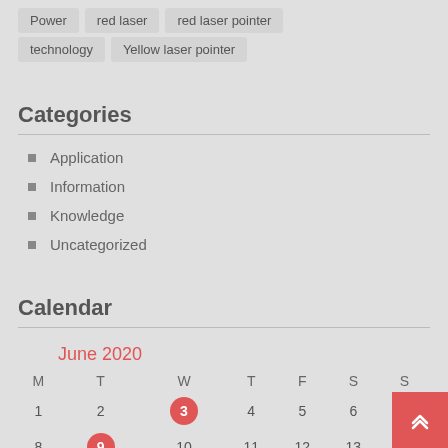Power
red laser
red laser pointer
technology
Yellow laser pointer
Categories
Application
Information
Knowledge
Uncategorized
Calendar
| M | T | W | T | F | S | S |
| --- | --- | --- | --- | --- | --- | --- |
| 1 | 2 | 3 | 4 | 5 | 6 | 7 |
| 8 | 9 | 10 | 11 | 12 | 13 | 14 |